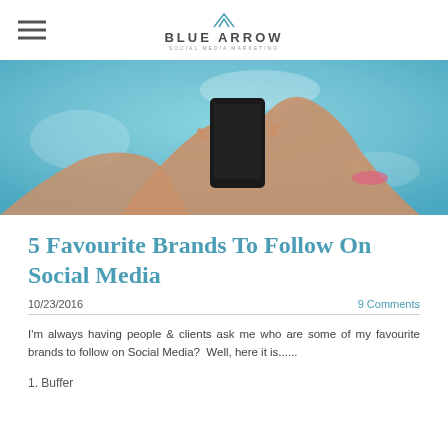BLUE ARROW SOCIAL MEDIA MARKETING
[Figure (photo): Close-up photo of hands holding a smartphone near a pool with blue/teal water background]
5 Favourite Brands To Follow On Social Media
10/23/2016   9 Comments
I'm always having people & clients ask me who are some of my favourite brands to follow on Social Media?  Well, here it is......
1. Buffer